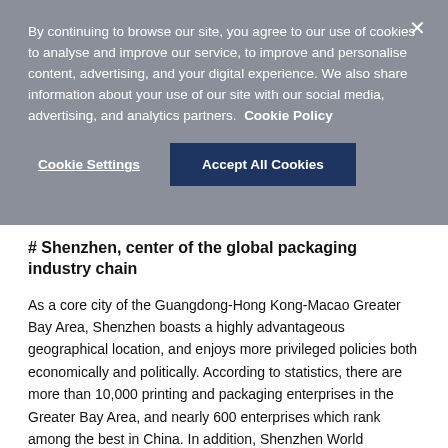By continuing to browse our site, you agree to our use of cookies to analyse and improve our service, to improve and personalise content, advertising, and your digital experience. We also share information about your use of our site with our social media, advertising, and analytics partners. Cookie Policy
Cookie Settings
Accept All Cookies
# Shenzhen, center of the global packaging industry chain
As a core city of the Guangdong-Hong Kong-Macao Greater Bay Area, Shenzhen boasts a highly advantageous geographical location, and enjoys more privileged policies both economically and politically. According to statistics, there are more than 10,000 printing and packaging enterprises in the Greater Bay Area, and nearly 600 enterprises which rank among the best in China. In addition, Shenzhen World Exhibition & Convention Center, the